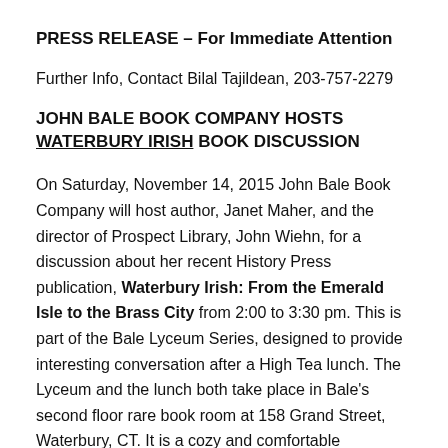PRESS RELEASE – For Immediate Attention
Further Info, Contact Bilal Tajildean, 203-757-2279
JOHN BALE BOOK COMPANY HOSTS WATERBURY IRISH BOOK DISCUSSION
On Saturday, November 14, 2015 John Bale Book Company will host author, Janet Maher, and the director of Prospect Library, John Wiehn, for a discussion about her recent History Press publication, Waterbury Irish: From the Emerald Isle to the Brass City from 2:00 to 3:30 pm. This is part of the Bale Lyceum Series, designed to provide interesting conversation after a High Tea lunch. The Lyceum and the lunch both take place in Bale's second floor rare book room at 158 Grand Street, Waterbury, CT. It is a cozy and comfortable atmosphere,